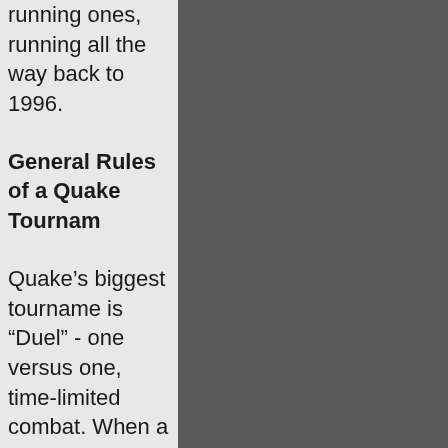running ones, running all the way back to 1996.
General Rules of a Quake Tournament
Quake’s biggest tournament is “Duel” - one versus one, time-limited combat. When a timer of 10